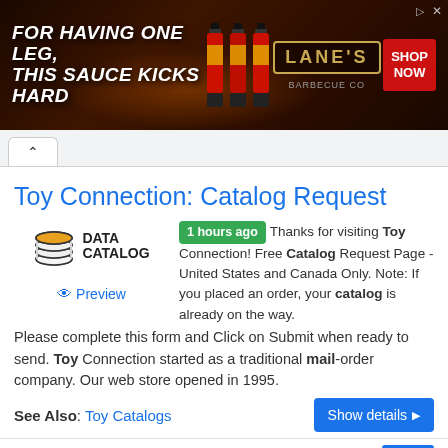[Figure (photo): Advertisement banner for Lane's BBQ sauce. Text reads 'FOR HAVING ONE LEG, THIS SAUCE KICKS HARD' with hot sauce bottles and LANES logo and SHOP NOW button.]
^
Toy Connection: Catalog Request
[Figure (logo): Data Catalog logo with stacked orange/yellow disk icon and text DATA CATALOG]
Preview
1 hours ago Thanks for visiting Toy Connection! Free Catalog Request Page - United States and Canada Only. Note: If you placed an order, your catalog is already on the way. Please complete this form and Click on Submit when ready to send. Toy Connection started as a traditional mail-order company. Our web store opened in 1995.
See Also: Toy Catalogs
Show details ▶
Catalog Request Ginny's